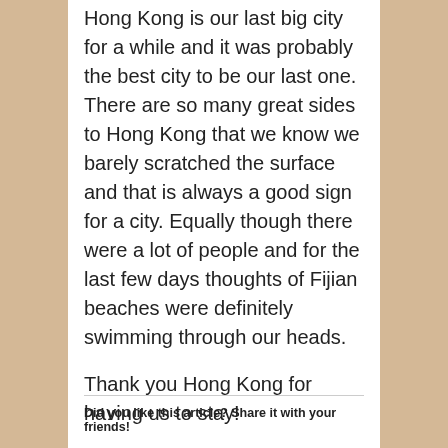Hong Kong is our last big city for a while and it was probably the best city to be our last one. There are so many great sides to Hong Kong that we know we barely scratched the surface and that is always a good sign for a city. Equally though there were a lot of people and for the last few days thoughts of Fijian beaches were definitely swimming through our heads.
Thank you Hong Kong for having us to stay!
Did you like this article? Share it with your friends!